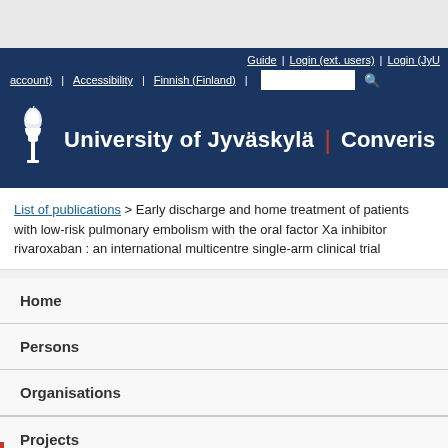[Figure (screenshot): University of Jyväskylä Converis website header with navigation bar showing Guide, Login (ext. users), Login (JyU account), Accessibility, Finnish (Finland) links and search box, with torch logo]
List of publications > Early discharge and home treatment of patients with low-risk pulmonary embolism with the oral factor Xa inhibitor rivaroxaban : an international multicentre single-arm clinical trial
Home
Persons
Organisations
Projects